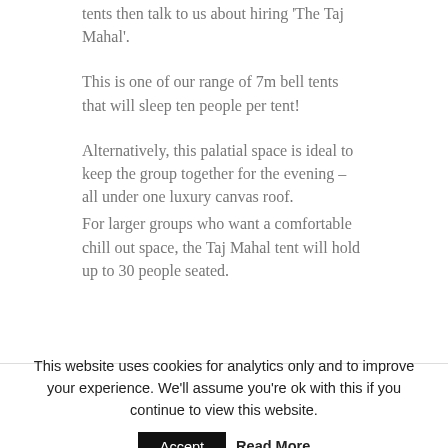tents then talk to us about hiring 'The Taj Mahal'.
This is one of our range of 7m bell tents that will sleep ten people per tent!
Alternatively, this palatial space is ideal to keep the group together for the evening –  all under one luxury canvas roof.
For larger groups who want a comfortable chill out space, the Taj Mahal tent will hold up to 30 people seated.
This website uses cookies for analytics only and to improve your experience. We'll assume you're ok with this if you continue to view this website.  Accept  Read More